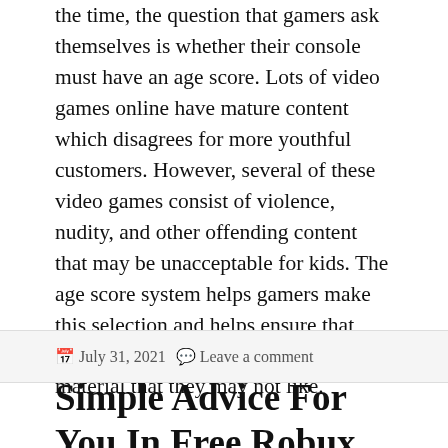the time, the question that gamers ask themselves is whether their console must have an age score. Lots of video games online have mature content which disagrees for more youthful customers. However, several of these video games consist of violence, nudity, and other offending content that may be unacceptable for kids. The age score system helps gamers make this selection and helps ensure that they do not subject themselves to material that they may not like.
July 31, 2021   Leave a comment
Simple Advice For You In Free Robux.